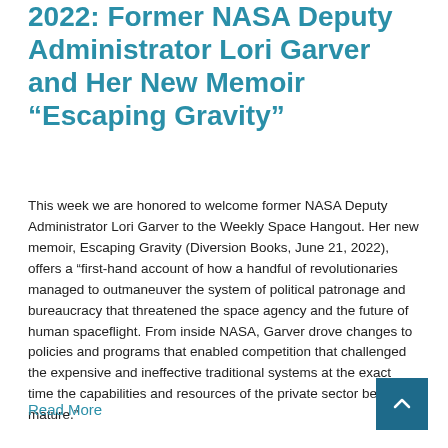2022: Former NASA Deputy Administrator Lori Garver and Her New Memoir “Escaping Gravity”
This week we are honored to welcome former NASA Deputy Administrator Lori Garver to the Weekly Space Hangout. Her new memoir, Escaping Gravity (Diversion Books, June 21, 2022), offers a “first-hand account of how a handful of revolutionaries managed to outmaneuver the system of political patronage and bureaucracy that threatened the space agency and the future of human spaceflight. From inside NASA, Garver drove changes to policies and programs that enabled competition that challenged the expensive and ineffective traditional systems at the exact time the capabilities and resources of the private sector began to mature.”
Read More